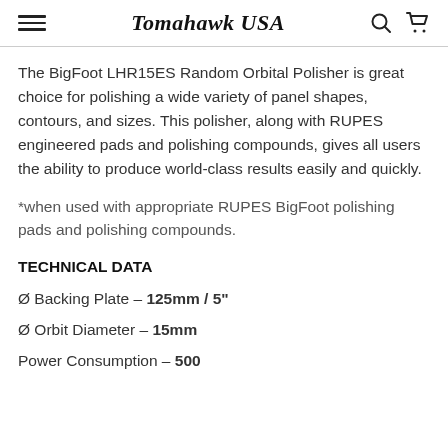Tomahawk USA
The BigFoot LHR15ES Random Orbital Polisher is great choice for polishing a wide variety of panel shapes, contours, and sizes. This polisher, along with RUPES engineered pads and polishing compounds, gives all users the ability to produce world-class results easily and quickly.
*when used with appropriate RUPES BigFoot polishing pads and polishing compounds.
TECHNICAL DATA
Ø Backing Plate – 125mm / 5"
Ø Orbit Diameter – 15mm
Power Consumption – 500